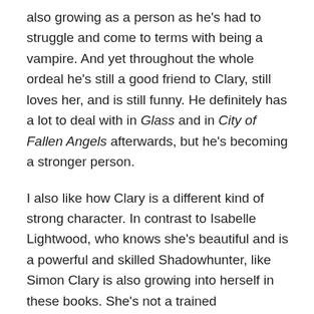also growing as a person as he's had to struggle and come to terms with being a vampire. And yet throughout the whole ordeal he's still a good friend to Clary, still loves her, and is still funny. He definitely has a lot to deal with in Glass and in City of Fallen Angels afterwards, but he's becoming a stronger person.

I also like how Clary is a different kind of strong character. In contrast to Isabelle Lightwood, who knows she's beautiful and is a powerful and skilled Shadowhunter, like Simon Clary is also growing into herself in these books. She's not a trained Shadowhunter so she's not physically strong, but her special gift is drawing runes -ancient runes, runes not found in the Gray Book -and this skill becomes vitally important in Glass. Clary might not be able to literally kick ass (yet), but she is able to unite Shadowhunters and Downworlders in the fight against